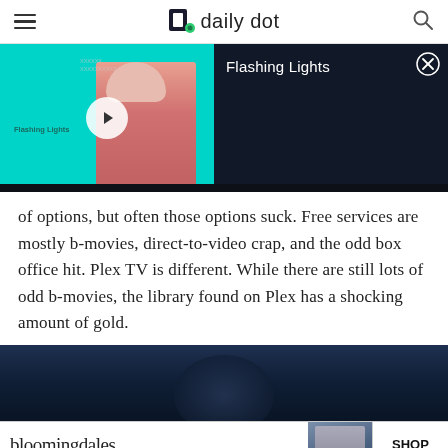daily dot
[Figure (screenshot): Video player showing 'Flashing Lights' — left half shows teal background with a woman in a pink dress and a play button overlay; right half shows dark panel with title 'Flashing Lights' and a close button]
of options, but often those options suck. Free services are mostly b-movies, direct-to-video crap, and the odd box office hit. Plex TV is different. While there are still lots of odd b-movies, the library found on Plex has a shocking amount of gold.
[Figure (photo): Dark blue-toned cinematic photo strip, partially cropped at bottom]
[Figure (other): Bloomingdale's advertisement banner — 'View Today's Top Deals!' with 'SHOP NOW >' button]